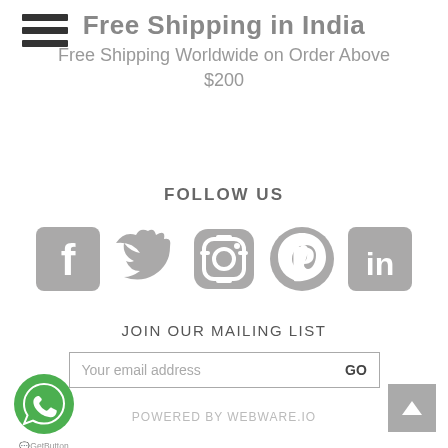[Figure (illustration): Hamburger menu icon (three horizontal bars) in top left corner]
Free Shipping in India
Free Shipping Worldwide on Order Above $200
FOLLOW US
[Figure (illustration): Social media icons: Facebook, Twitter, Instagram, Pinterest, LinkedIn - all in grey]
JOIN OUR MAILING LIST
[Figure (illustration): Email subscription form with input field 'Your email address' and GO button]
[Figure (logo): WhatsApp GetButton green circular icon with chat bubble]
POWERED BY WEBWARE.IO